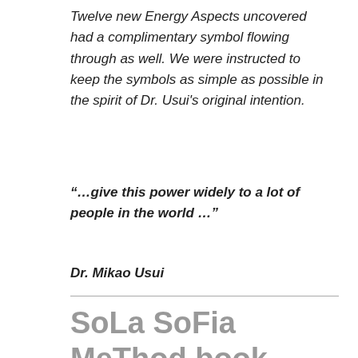Twelve new Energy Aspects uncovered had a complimentary symbol flowing through as well. We were instructed to keep the symbols as simple as possible in the spirit of Dr. Usui's original intention.
“…give this power widely to a lot of people in the world …”
Dr. Mikao Usui
SoLa SoFia MeThod book NOW Available on Amazon and  Kindle!